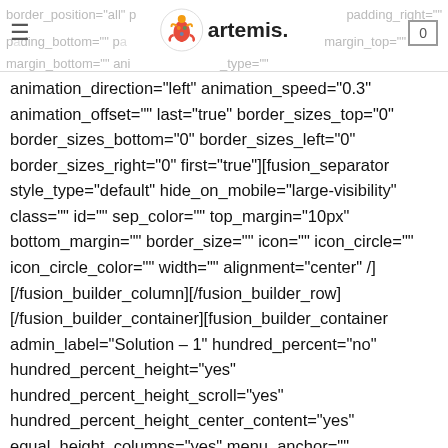border_position="all" padding_right="" padding_bottom="" padding_left="" margin_top="" margin_bottom="" animation_type=""
animation_direction="left" animation_speed="0.3" animation_offset="" last="true" border_sizes_top="0" border_sizes_bottom="0" border_sizes_left="0" border_sizes_right="0" first="true"][fusion_separator style_type="default" hide_on_mobile="large-visibility" class="" id="" sep_color="" top_margin="10px" bottom_margin="" border_size="" icon="" icon_circle="" icon_circle_color="" width="" alignment="center" /] [/fusion_builder_column][/fusion_builder_row] [/fusion_builder_container][fusion_builder_container admin_label="Solution - 1" hundred_percent="no" hundred_percent_height="yes" hundred_percent_height_scroll="yes" hundred_percent_height_center_content="yes" equal_height_columns="yes" menu_anchor=""